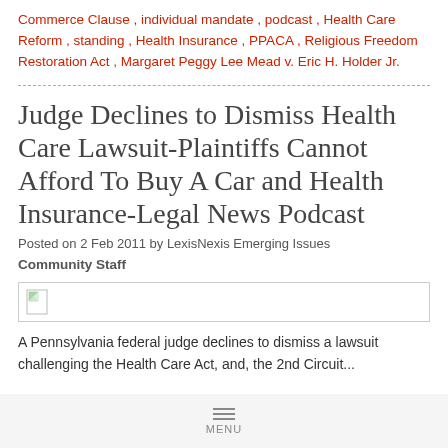Commerce Clause , individual mandate , podcast , Health Care Reform , standing , Health Insurance , PPACA , Religious Freedom Restoration Act , Margaret Peggy Lee Mead v. Eric H. Holder Jr.
Judge Declines to Dismiss Health Care Lawsuit-Plaintiffs Cannot Afford To Buy A Car and Health Insurance-Legal News Podcast
Posted on 2 Feb 2011 by LexisNexis Emerging Issues
Community Staff
[Figure (other): Small document/image icon inside a bordered box]
A Pennsylvania federal judge declines to dismiss a lawsuit challenging the Health Care Act, and, the 2nd Circuit...